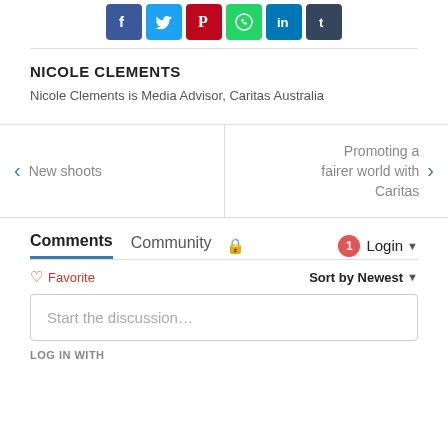[Figure (infographic): Row of social media sharing icons: Facebook, Twitter, Pinterest, WhatsApp, LinkedIn, Tumblr]
NICOLE CLEMENTS
Nicole Clements is Media Advisor, Caritas Australia
< New shoots | Promoting a fairer world with Caritas >
Comments
Community  🔒  1  Login ▾
♡ Favorite   Sort by Newest ▾
Start the discussion…
LOG IN WITH